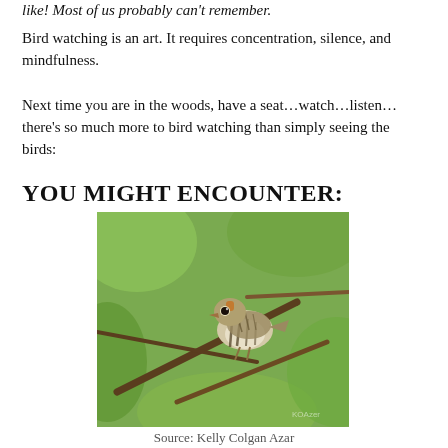like! Most of us probably can't remember.
Bird watching is an art. It requires concentration, silence, and mindfulness.
Next time you are in the woods, have a seat…watch…listen…there's so much more to bird watching than simply seeing the birds:
YOU MIGHT ENCOUNTER:
[Figure (photo): A small ovenbird perched on a branch among green leaves, showing striped brown and white plumage.]
Source: Kelly Colgan Azar
An Ovenbird: small; chunky; mostly drab, but with an appealing rufus stripe running the